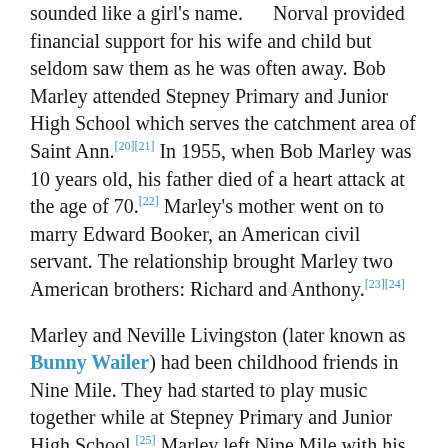sounded like a girl's name. Norval provided financial support for his wife and child but seldom saw them as he was often away. Bob Marley attended Stepney Primary and Junior High School which serves the catchment area of Saint Ann.[20][21] In 1955, when Bob Marley was 10 years old, his father died of a heart attack at the age of 70.[22] Marley's mother went on to marry Edward Booker, an American civil servant. The relationship brought Marley two American brothers: Richard and Anthony.[23][24]
Marley and Neville Livingston (later known as Bunny Wailer) had been childhood friends in Nine Mile. They had started to play music together while at Stepney Primary and Junior High School.[25] Marley left Nine Mile with his mother when he was 12 and moved to Trenchtown, Kingston. Cedella Booker and Thadeus Livingston (Bunny Wailer's father) had a daughter together whom they named Claudette Pearl,[26] who was a younger sister to both Bob and Bunny. Now that Marley and Livingston were living together in the same house in Trenchtown, their musical explorations deepened